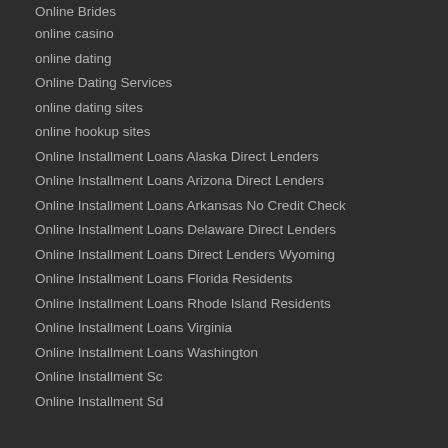Online Brides
online casino
online dating
Online Dating Services
online dating sites
online hookup sites
Online Installment Loans Alaska Direct Lenders
Online Installment Loans Arizona Direct Lenders
Online Installment Loans Arkansas No Credit Check
Online Installment Loans Delaware Direct Lenders
Online Installment Loans Direct Lenders Wyoming
Online Installment Loans Florida Residents
Online Installment Loans Rhode Island Residents
Online Installment Loans Virginia
Online Installment Loans Washington
Online Installment Sc
Online Installment Sd